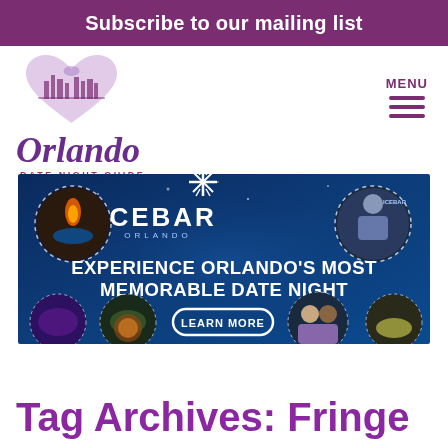Subscribe to our mailing list
[Figure (logo): Orlando Date Night Guide logo with heart icon and cursive Orlando text]
MENU
[Figure (infographic): ICEBAR Orlando advertisement: Experience Orlando's Most Memorable Date Night. Learn More button. Dark blue background with circular photos of ice bar interior, cocktails, couple, food.]
Tag Archives: Fringe